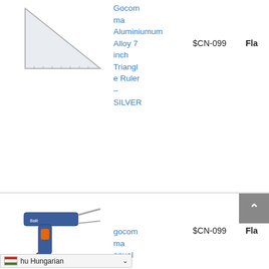[Figure (photo): Triangle ruler - aluminum alloy set square, silver colored]
Gocomma Aluminum Alloy 7 inch Triangle Ruler – SILVER
$CN-099
Fla
[Figure (photo): Blue soldering gun / solder tool with orange trigger]
gocomma manual
$CN-099
Fla
Hungarian